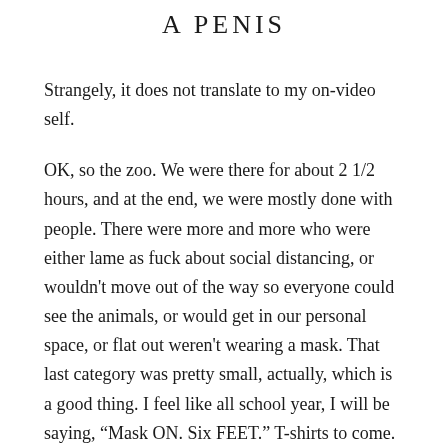A PENIS
Strangely, it does not translate to my on-video self.
OK, so the zoo. We were there for about 2 1/2 hours, and at the end, we were mostly done with people. There were more and more who were either lame as fuck about social distancing, or wouldn't move out of the way so everyone could see the animals, or would get in our personal space, or flat out weren't wearing a mask. That last category was pretty small, actually, which is a good thing. I feel like all school year, I will be saying, “Mask ON. Six FEET.” T-shirts to come. That said, it was outside and a walk and the baby animals are cute as hell